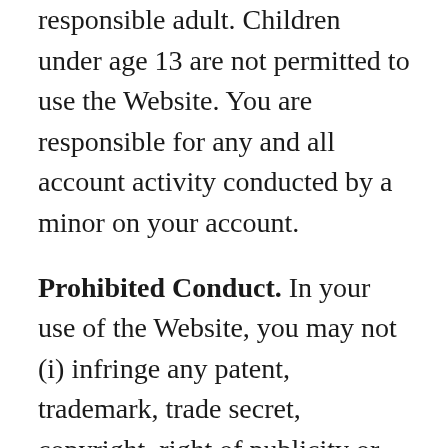responsible adult. Children under age 13 are not permitted to use the Website. You are responsible for any and all account activity conducted by a minor on your account.
Prohibited Conduct. In your use of the Website, you may not (i) infringe any patent, trademark, trade secret, copyright, right of publicity or other right of any party (ii) disrupt or interfere with the security or use of the Website, (iii) interfere or damage the Website, including without limitation, through the use of viruses, cancel bots, Trojan horses, harmful code, flood pings, denial of service